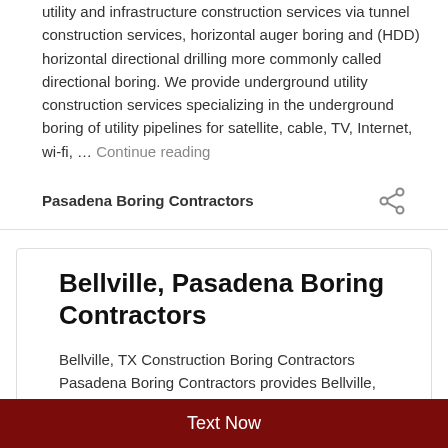utility and infrastructure construction services via tunnel construction services, horizontal auger boring and (HDD) horizontal directional drilling more commonly called directional boring. We provide underground utility construction services specializing in the underground boring of utility pipelines for satellite, cable, TV, Internet, wi-fi, … Continue reading
Pasadena Boring Contractors
Bellville, Pasadena Boring Contractors
Bellville, TX Construction Boring Contractors Pasadena Boring Contractors provides Bellville, TX with underground
Text Now